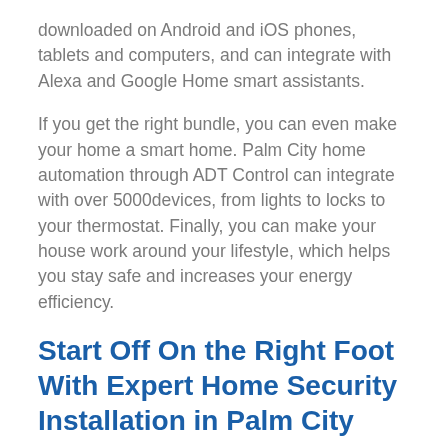downloaded on Android and iOS phones, tablets and computers, and can integrate with Alexa and Google Home smart assistants.
If you get the right bundle, you can even make your home a smart home. Palm City home automation through ADT Control can integrate with over 5000devices, from lights to locks to your thermostat. Finally, you can make your house work around your lifestyle, which helps you stay safe and increases your energy efficiency.
Start Off On the Right Foot With Expert Home Security Installation in Palm City
When you're ready to buy your Palm City home security system, you can count on installation with